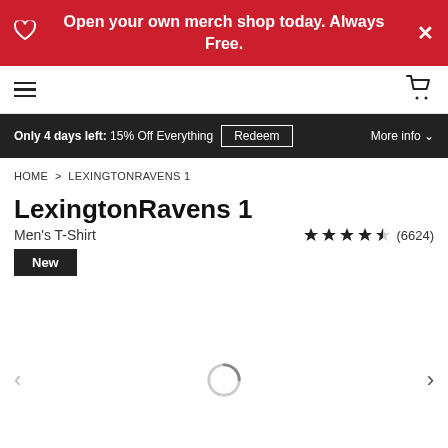Open your own merch shop today. Always Free.
Menu | Cart
Only 4 days left: 15% Off Everything  Redeem  More info
HOME > LEXINGTONRAVENS 1
LexingtonRavens 1
Men's T-Shirt
(6624)
New